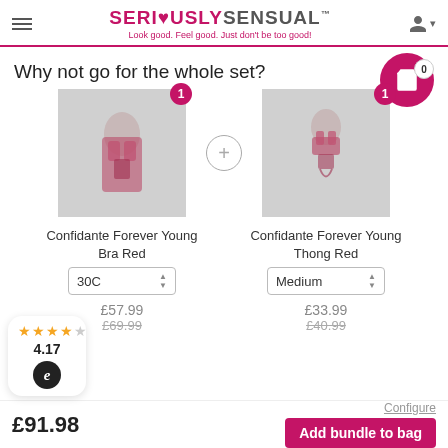SERI♥USLYSENSUAL™ — Look good. Feel good. Just don't be too good!
Why not go for the whole set?
[Figure (screenshot): Product image of Confidante Forever Young Bra Red with quantity badge 1]
Confidante Forever Young Bra Red
30C (size selector)
£57.99
£69.99 (original price, struck through)
[Figure (screenshot): Product image of Confidante Forever Young Thong Red with quantity badge 1]
Confidante Forever Young Thong Red
Medium (size selector)
£33.99
£40.99 (original price, struck through)
4.17 stars rating
£91.98
Configure
Add bundle to bag